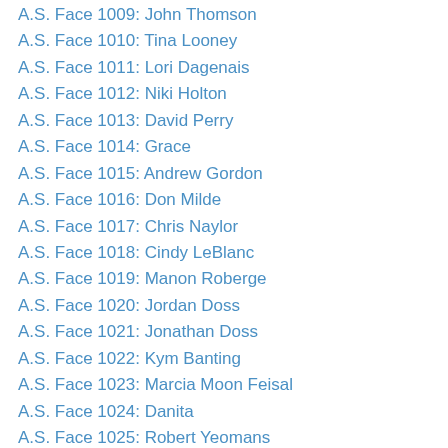A.S. Face 1009: John Thomson
A.S. Face 1010: Tina Looney
A.S. Face 1011: Lori Dagenais
A.S. Face 1012: Niki Holton
A.S. Face 1013: David Perry
A.S. Face 1014: Grace
A.S. Face 1015: Andrew Gordon
A.S. Face 1016: Don Milde
A.S. Face 1017: Chris Naylor
A.S. Face 1018: Cindy LeBlanc
A.S. Face 1019: Manon Roberge
A.S. Face 1020: Jordan Doss
A.S. Face 1021: Jonathan Doss
A.S. Face 1022: Kym Banting
A.S. Face 1023: Marcia Moon Feisal
A.S. Face 1024: Danita
A.S. Face 1025: Robert Yeomans
A.S. Face 1026: Cheryl Illy
A.S. Face 1027: Diane Russo
A.S. Face 1028: Ryah